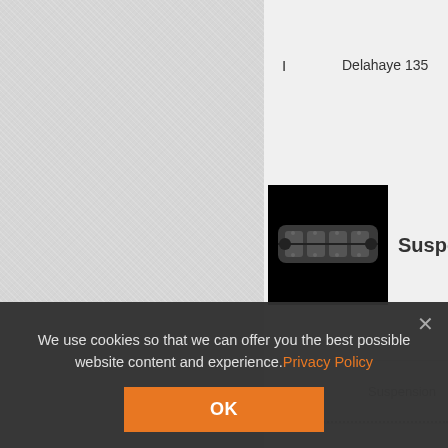[Figure (screenshot): Left panel with light gray textured background (leather/fabric texture)]
| Tier | Suspension |
| --- | --- |
| I | Delahaye 135 |
Suspensions
[Figure (photo): Black background icon showing a tank suspension track component]
| Tier | Suspension |
| --- | --- |
| II | Lorraine 39L AM |
We use cookies so that we can offer you the best possible website content and experience.Privacy Policy
OK